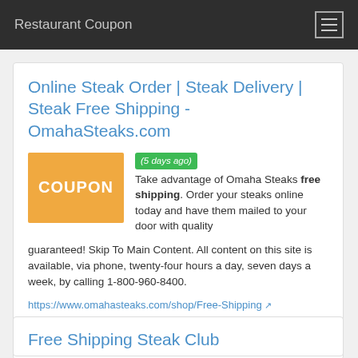Restaurant Coupon
Online Steak Order | Steak Delivery | Steak Free Shipping - OmahaSteaks.com
(5 days ago) Take advantage of Omaha Steaks free shipping. Order your steaks online today and have them mailed to your door with quality guaranteed! Skip To Main Content. All content on this site is available, via phone, twenty-four hours a day, seven days a week, by calling 1-800-960-8400.
https://www.omahasteaks.com/shop/Free-Shipping
Category: All,
Free Shipping Steak Club